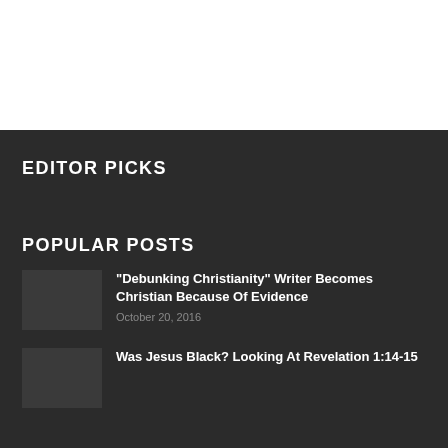EDITOR PICKS
POPULAR POSTS
"Debunking Christianity" Writer Becomes Christian Because Of Evidence
October 20, 2016
Was Jesus Black? Looking At Revelation 1:14-15